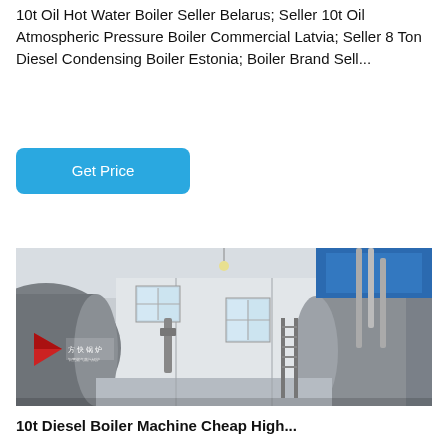10t Oil Hot Water Boiler Seller Belarus; Seller 10t Oil Atmospheric Pressure Boiler Commercial Latvia; Seller 8 Ton Diesel Condensing Boiler Estonia; Boiler Brand Sell...
Get Price
[Figure (photo): Industrial boiler room with large cylindrical horizontal boilers, showing Chinese manufacturer branding (方快锅炉), pipes, walkways, and windows in a factory setting.]
10t Diesel Boiler Machine Cheap High...